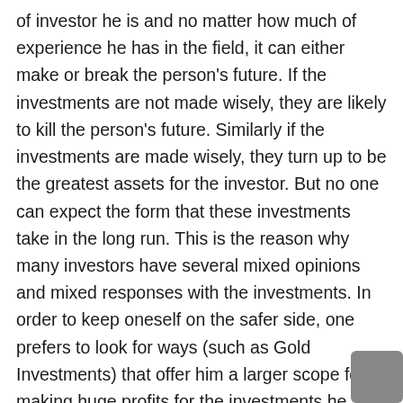of investor he is and no matter how much of experience he has in the field, it can either make or break the person's future. If the investments are not made wisely, they are likely to kill the person's future. Similarly if the investments are made wisely, they turn up to be the greatest assets for the investor. But no one can expect the form that these investments take in the long run. This is the reason why many investors have several mixed opinions and mixed responses with the investments. In order to keep oneself on the safer side, one prefers to look for ways (such as Gold Investments) that offer him a larger scope for making huge profits for the investments he makes.
Make Serious Money Long Term With Gold Investment
From the ancient times, gold is considered as the highly precious metal. Its unique qualities and scarcity made eve